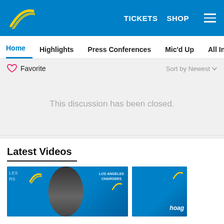TICKETS  SHOP  [menu]
Home  Highlights  Press Conferences  Mic'd Up  All In  Film Ro...
♡ Favorite    Sort by Newest ▾
This discussion has been closed.
✉ Subscribe  ▲ Do Not Sell My Data
Latest Videos
[Figure (photo): Two video thumbnails showing Los Angeles Chargers press conference footage with blue Chargers branded backdrop; left thumbnail shows a player/person at the podium, right thumbnail partially visible with hoag branding.]